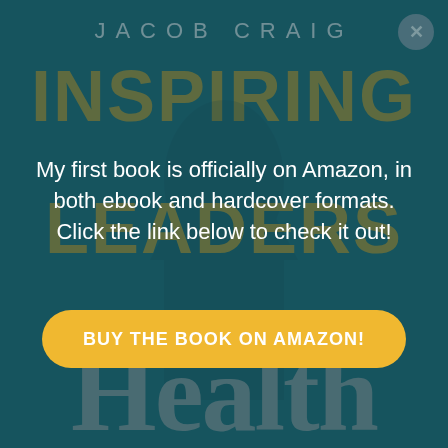[Figure (illustration): Book cover for 'Inspiring Leaders in Health' by Jacob Craig. Teal/dark cyan background with large gold uppercase 'INSPIRING' and 'LEADERS' text, a figure silhouette, decorative line with 'in' and large grey 'Health' serif text at bottom.]
My first book is officially on Amazon, in both ebook and hardcover formats. Click the link below to check it out!
BUY THE BOOK ON AMAZON!